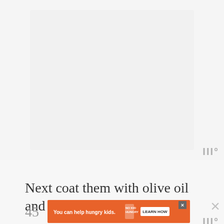[Figure (other): Large blank/white image placeholder area occupying the top two-thirds of the page with a light gray background]
III°
Next coat them with olive oil and bake them at
45
[Figure (other): Orange advertisement banner: 'You can help hungry kids. NO KID HUNGRY LEARN HOW' with a close button (X) on the right side]
×
III°